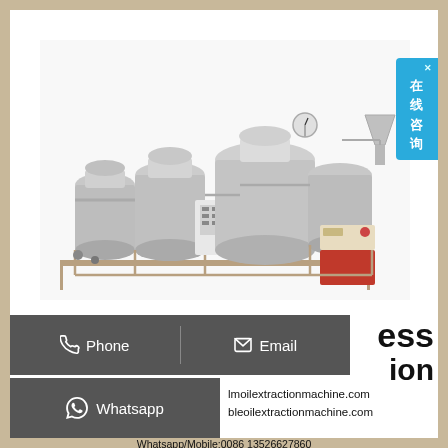[Figure (photo): Industrial oil extraction machine system with multiple stainless steel tanks, pipes, control panel, and auxiliary equipment mounted on a steel frame]
[Figure (other): Chinese online consultation button overlay (在线咨询) in light blue on the right edge]
ess
ion
Phone
Email
lmoilextractionmachine.com
bleoilextractionmachine.com
Whatsapp
Whatsapp/Mobile:0086 13526627860